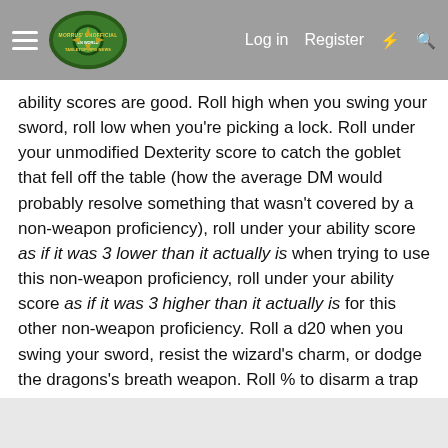Morrus' Unofficial Tabletop RPG News — Log in  Register
ability scores are good. Roll high when you swing your sword, roll low when you're picking a lock. Roll under your unmodified Dexterity score to catch the goblet that fell off the table (how the average DM would probably resolve something that wasn't covered by a non-weapon proficiency), roll under your ability score as if it was 3 lower than it actually is when trying to use this non-weapon proficiency, roll under your ability score as if it was 3 higher than it actually is for this other non-weapon proficiency. Roll a d20 when you swing your sword, resist the wizard's charm, or dodge the dragons's breath weapon. Roll % to disarm a trap or survive resurrection. Roll a d6 to notice secret doors. Roll a d10 to determine initiative.
Reply